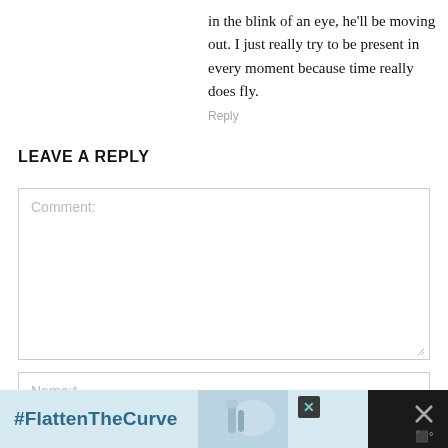in the blink of an eye, he'll be moving out. I just really try to be present in every moment because time really does fly.
Reply
LEAVE A REPLY
Comment:
Name:*
[Figure (screenshot): Dark advertisement bar at bottom with light blue background showing '#FlattenTheCurve' text, hand-washing image, and close buttons]